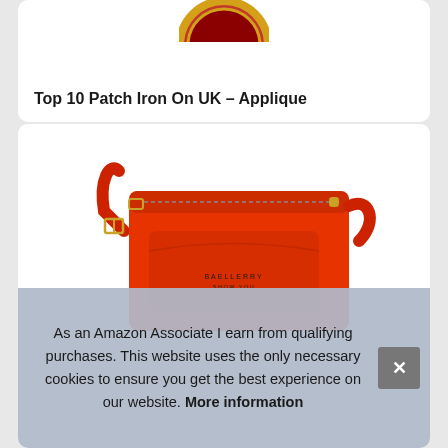[Figure (photo): Partial view of a circular embroidered patch with gold and red colors, cut off at top of card]
Top 10 Patch Iron On UK – Applique
[Figure (photo): A red leather crossbody bag (BAELLERRY SHOW YOU brand) with zipper top, front flap pocket, and adjustable strap with gold hardware, displayed on white background]
As an Amazon Associate I earn from qualifying purchases. This website uses the only necessary cookies to ensure you get the best experience on our website. More information